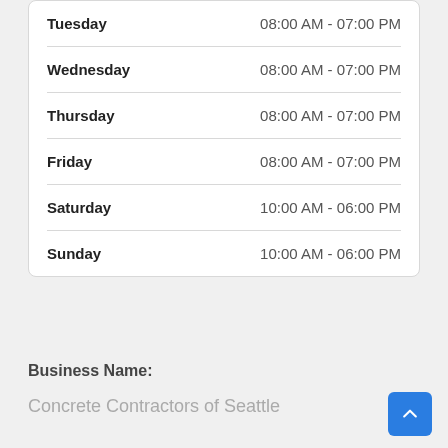| Day | Hours |
| --- | --- |
| Tuesday | 08:00 AM - 07:00 PM |
| Wednesday | 08:00 AM - 07:00 PM |
| Thursday | 08:00 AM - 07:00 PM |
| Friday | 08:00 AM - 07:00 PM |
| Saturday | 10:00 AM - 06:00 PM |
| Sunday | 10:00 AM - 06:00 PM |
Business Name:
Concrete Contractors of Seattle